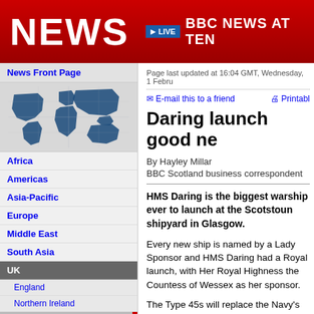NEWS | LIVE BBC NEWS AT TEN
News Front Page
[Figure (map): World map in blue on grey background]
Africa
Americas
Asia-Pacific
Europe
Middle East
South Asia
UK
England
Northern Ireland
Scotland
Wales
UK Politics
Education
Magazine
Business
Page last updated at 16:04 GMT, Wednesday, 1 Febru
E-mail this to a friend   Printabl
Daring launch good ne
By Hayley Millar
BBC Scotland business correspondent
HMS Daring is the biggest warship ever to launch at the Scotstoun shipyard in Glasgow.
Every new ship is named by a Lady Sponsor and HMS Daring had a Royal launch, with Her Royal Highness the Countess of Wessex as her sponsor.
The Type 45s will replace the Navy's ageing fleet of Type 42 destroyers, such as HMS Glasgow.
On the outside, first-of-class Daring is significa